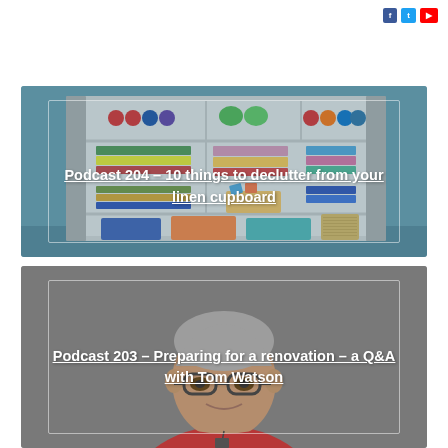[Figure (illustration): Illustrated linen cupboard with shelves containing colorful folded towels, baskets, and storage containers with colored dots/balls across the top]
Podcast 204 – 10 things to declutter from your linen cupboard
[Figure (photo): Photo of a middle-aged man with grey hair and glasses wearing a red jacket, on a grey background]
Podcast 203 – Preparing for a renovation – a Q&A with Tom Watson